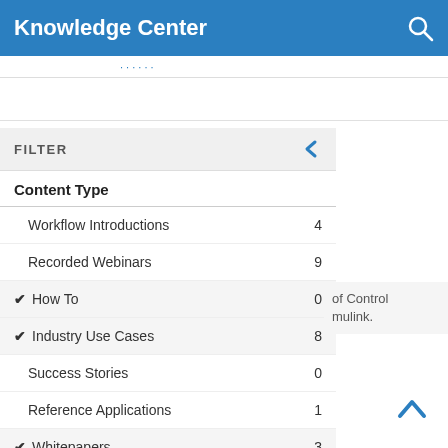Knowledge Center
FILTER
Content Type
Workflow Introductions 4
Recorded Webinars 9
✔ How To 0
✔ Industry Use Cases 8
Success Stories 0
Reference Applications 1
✔ Whitepapers 3
of Control mulink.